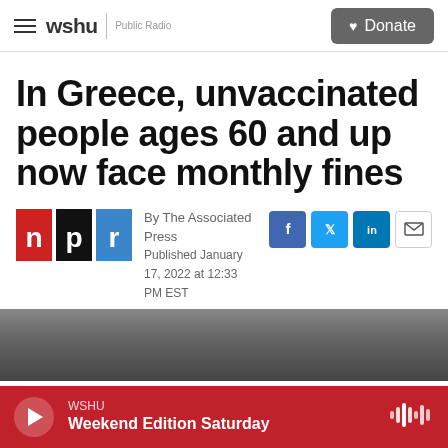wshu | Public Radio — Donate
In Greece, unvaccinated people ages 60 and up now face monthly fines
By The Associated Press
Published January 17, 2022 at 12:33 PM EST
[Figure (photo): NPR logo — red, black, and blue blocks with letters n, p, r]
[Figure (photo): Dark grainy photograph, top portion visible, subject unclear]
WSHU  Weekend Edition Saturday